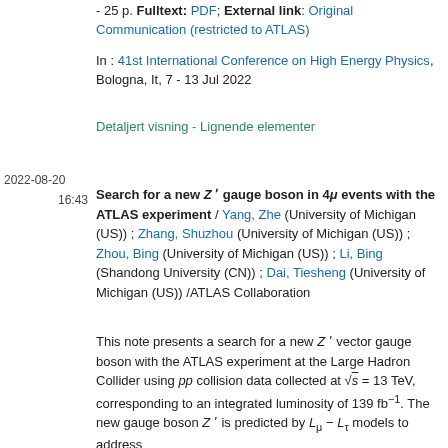- 25 p. Fulltext: PDF; External link: Original Communication (restricted to ATLAS)
In : 41st International Conference on High Energy Physics, Bologna, It, 7 - 13 Jul 2022
Detaljert visning - Lignende elementer
2022-08-20
16:43
Search for a new Z' gauge boson in 4μ events with the ATLAS experiment / Yang, Zhe (University of Michigan (US)) ; Zhang, Shuzhou (University of Michigan (US)) ; Zhou, Bing (University of Michigan (US)) ; Li, Bing (Shandong University (CN)) ; Dai, Tiesheng (University of Michigan (US)) /ATLAS Collaboration
This note presents a search for a new Z' vector gauge boson with the ATLAS experiment at the Large Hadron Collider using pp collision data collected at √s = 13 TeV, corresponding to an integrated luminosity of 139 fb⁻¹. The new gauge boson Z' is predicted by L_μ − L_τ models to address